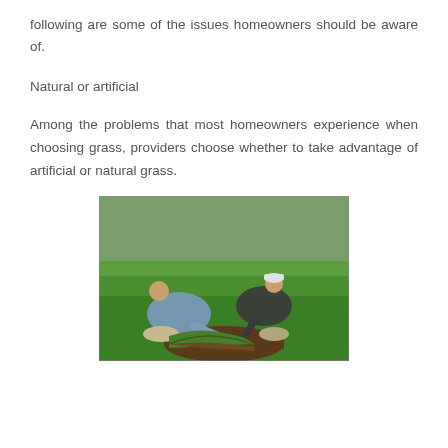following are some of the issues homeowners should be aware of.
Natural or artificial
Among the problems that most homeowners experience when choosing grass, providers choose whether to take advantage of artificial or natural grass.
[Figure (photo): Two people kneeling on green grass, peeling back a section of turf/sod to examine the soil underneath. One person wears a blue patterned shirt and khaki pants, the other wears a dark shirt and white cap.]